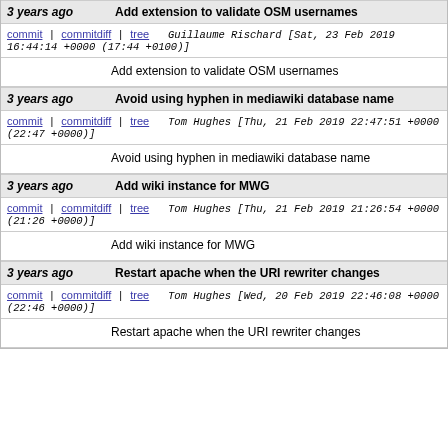3 years ago | Add extension to validate OSM usernames
commit | commitdiff | tree   Guillaume Rischard [Sat, 23 Feb 2019 16:44:14 +0000 (17:44 +0100)]
Add extension to validate OSM usernames
3 years ago | Avoid using hyphen in mediawiki database name
commit | commitdiff | tree   Tom Hughes [Thu, 21 Feb 2019 22:47:51 +0000 (22:47 +0000)]
Avoid using hyphen in mediawiki database name
3 years ago | Add wiki instance for MWG
commit | commitdiff | tree   Tom Hughes [Thu, 21 Feb 2019 21:26:54 +0000 (21:26 +0000)]
Add wiki instance for MWG
3 years ago | Restart apache when the URI rewriter changes
commit | commitdiff | tree   Tom Hughes [Wed, 20 Feb 2019 22:46:08 +0000 (22:46 +0000)]
Restart apache when the URI rewriter changes